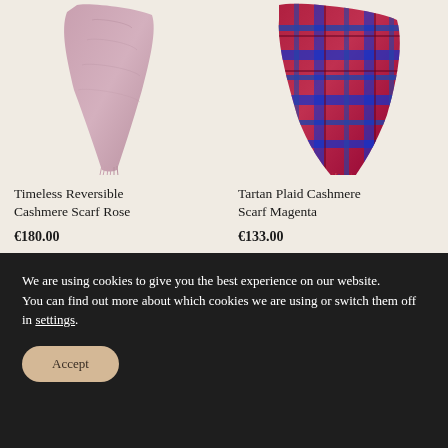[Figure (photo): Pink/rose cashmere scarf folded and draped, shown from above on cream background]
[Figure (photo): Tartan plaid cashmere scarf in magenta/red/blue pattern with fringe, shown from above on cream background]
Timeless Reversible Cashmere Scarf Rose
€180.00
ADD TO BASKET
Tartan Plaid Cashmere Scarf Magenta
€133.00
ADD TO BASKET
We are using cookies to give you the best experience on our website.
You can find out more about which cookies we are using or switch them off in settings.
Accept